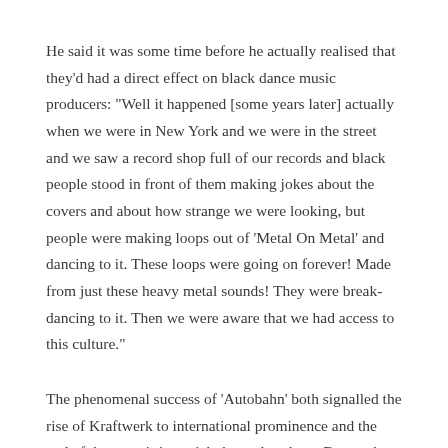He said it was some time before he actually realised that they'd had a direct effect on black dance music producers: "Well it happened [some years later] actually when we were in New York and we were in the street and we saw a record shop full of our records and black people stood in front of them making jokes about the covers and about how strange we were looking, but people were making loops out of 'Metal On Metal' and dancing to it. These loops were going on forever! Made from just these heavy metal sounds! They were break-dancing to it. Then we were aware that we had access to this culture."
The phenomenal success of 'Autobahn' both signalled the rise of Kraftwerk to international prominence and the end of the genre's imperial phase elsewhere. But on the world stage the long and fruitful history of electronic dance music was only just beginning.